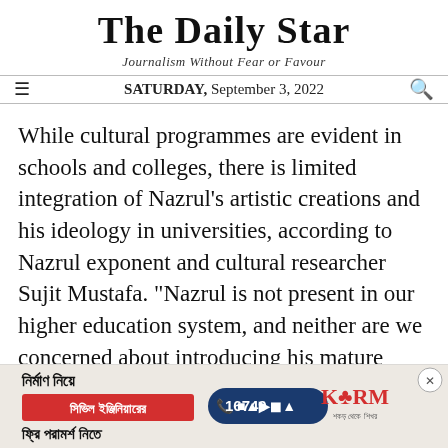The Daily Star
Journalism Without Fear or Favour
SATURDAY, September 3, 2022
While cultural programmes are evident in schools and colleges, there is limited integration of Nazrul's artistic creations and his ideology in universities, according to Nazrul exponent and cultural researcher Sujit Mustafa. "Nazrul is not present in our higher education system, and neither are we concerned about introducing his mature ideology to our youth." Sujit has received the Nazrul Padak, given by the Kazi Nazrul Islam
[Figure (other): Advertisement banner for KSRM civil engineering consultation services with Bengali text, phone number 16749, and KSRM logo]